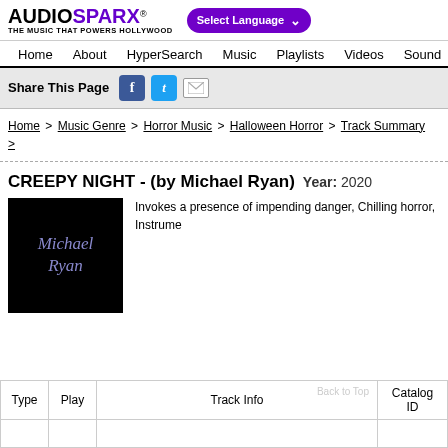AUDIOSPARX® THE MUSIC THAT POWERS HOLLYWOOD | Select Language
Home | About | HyperSearch | Music | Playlists | Videos | Sound
Share This Page
Home > Music Genre > Horror Music > Halloween Horror > Track Summary >
CREEPY NIGHT - (by Michael Ryan) Year: 2020
Invokes a presence of impending danger, Chilling horror, Instrume
[Figure (photo): Album art with text 'Michael Ryan' on black background]
| Type | Play | Track Info | Catalog ID |
| --- | --- | --- | --- |